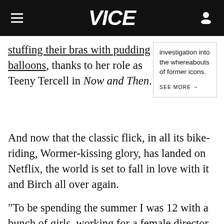VICE
stuffing their bras with pudding balloons, thanks to her role as Teeny Tercell in Now and Then. And now that the classic flick, in all its bike-riding, Wormer-kissing glory, has landed on Netflix, the world is set to fall in love with it and Birch all over again.
investigation into the whereabouts of former icons.

SEE MORE →
"To be spending the summer I was 12 with a bunch of girls, working for a female director and female producers—to witness these baller chicks who just went ahead and did that—gave